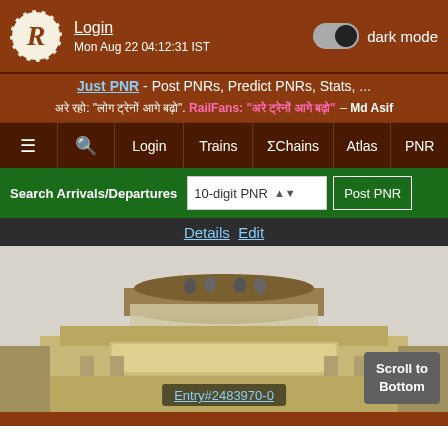Login  Mon Aug 22 04:12:31 IST  dark mode
Just PNR - Post PNRs, Predict PNRs, Stats, ...
RailFans: "ओर ट्रेनों आगे बढ़ो" - Md Asif
≡  🔍  Login  Trains  ΣChains  Atlas  PNR
Search Arrivals/Departures  10-digit PNR  Post PNR
Details Edit
[Figure (photo): Railway station building exterior with circular structure and signboard]
Entry#2483970-0
Scroll to Bottom